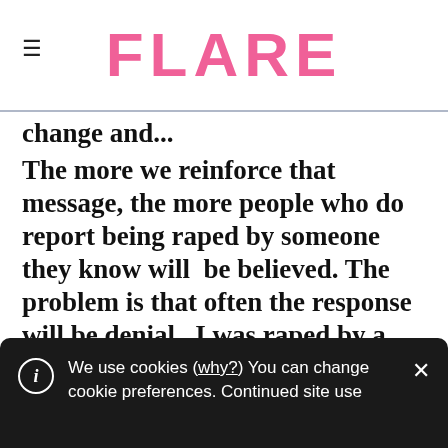FLARE
change and...
The more we reinforce that message, the more people who do report being raped by someone they know will be believed. The problem is that often the response will be denial...I was raped by a guy that I met the same night—basically we were dancing and hanging out at a party—and the next day I saw him in the dining hall and said to another student, 'Oh my god, that's the guy from last night' and she said, 'Oh, no, I
We use cookies (why?) You can change cookie preferences. Continued site use